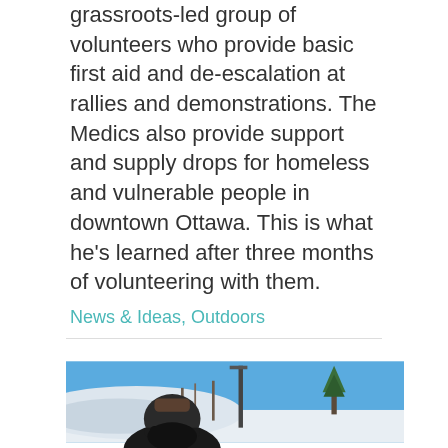grassroots-led group of volunteers who provide basic first aid and de-escalation at rallies and demonstrations. The Medics also provide support and supply drops for homeless and vulnerable people in downtown Ottawa. This is what he's learned after three months of volunteering with them.
News & Ideas, Outdoors
[Figure (photo): A person wearing a black beanie, black face mask/balaclava, and sunglasses, standing outdoors in a snowy winter landscape. Behind them is a snowbank, bare trees, a metal lamp post, and a clear blue sky.]